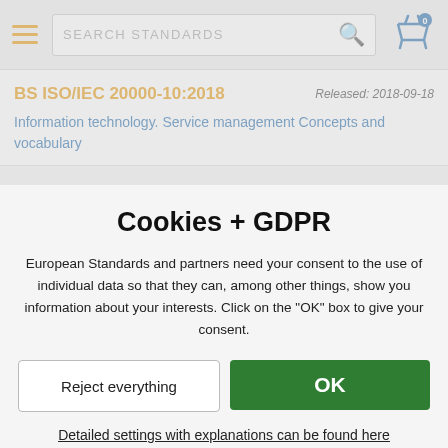SEARCH STANDARDS
BS ISO/IEC 20000-10:2018
Released: 2018-09-18
Information technology. Service management Concepts and vocabulary
Cookies + GDPR
European Standards and partners need your consent to the use of individual data so that they can, among other things, show you information about your interests. Click on the "OK" box to give your consent.
Reject everything
OK
Detailed settings with explanations can be found here